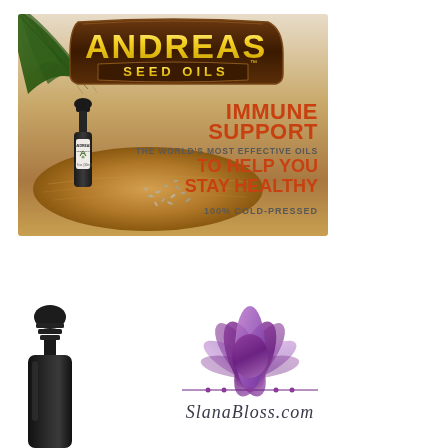[Figure (illustration): Andreas Seed Oils advertisement banner showing a dark dropper bottle with seeds on a wooden board, green palm leaf in background, logo with brown arch, and text reading IMMUNE SUPPORT, THE WORLD'S MOST EFFECTIVE OILS, TO HELP YOU STAY HEALTHY, 100% COLD-PRESSED]
[Figure (photo): Close-up of a black dropper bottle cap/pipette at the bottom left of the page]
[Figure (logo): Lotus flower logo in purple/violet gradient with decorative dots and cursive text reading 'SlanaBloss.com' or similar]